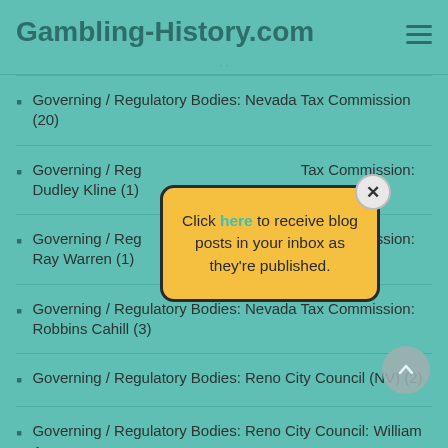Gambling-History.com
· ·
Governing / Regulatory Bodies: Nevada Tax Commission (20)
Governing / Regulatory Bodies: Nevada Tax Commission: Dudley Kline (1)
Governing / Regulatory Bodies: Nevada Tax Commission: Ray Warren (1)
Governing / Regulatory Bodies: Nevada Tax Commission: Robbins Cahill (3)
Governing / Regulatory Bodies: Reno City Council (NV) (2)
Governing / Regulatory Bodies: Reno City Council: William A
[Figure (other): Popup dialog with yellow background and close button, containing text: Click here to receive blog posts in your inbox as they're published.]